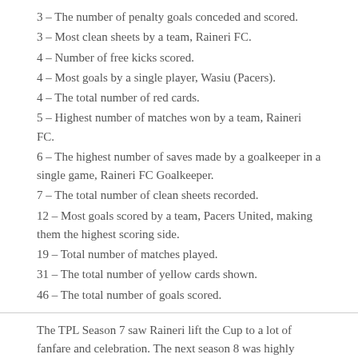3 – The number of penalty goals conceded and scored.
3 – Most clean sheets by a team, Raineri FC.
4 – Number of free kicks scored.
4 – Most goals by a single player, Wasiu (Pacers).
4 – The total number of red cards.
5 – Highest number of matches won by a team, Raineri FC.
6 – The highest number of saves made by a goalkeeper in a single game, Raineri FC Goalkeeper.
7 – The total number of clean sheets recorded.
12 – Most goals scored by a team, Pacers United, making them the highest scoring side.
19 – Total number of matches played.
31 – The total number of yellow cards shown.
46 – The total number of goals scored.
The TPL Season 7 saw Raineri lift the Cup to a lot of fanfare and celebration. The next season 8 was highly anticipated as there